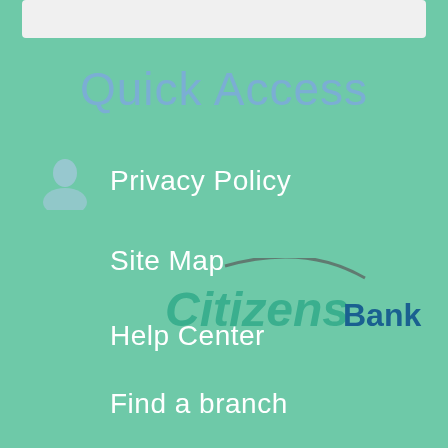[Figure (screenshot): Top white/light bar area at top of page]
Quick Access
[Figure (logo): Citizens Bank logo with swoosh and italic Citizens text and bold Bank text]
Privacy Policy
Site Map
Help Center
Find a branch
Feedback
Downloads